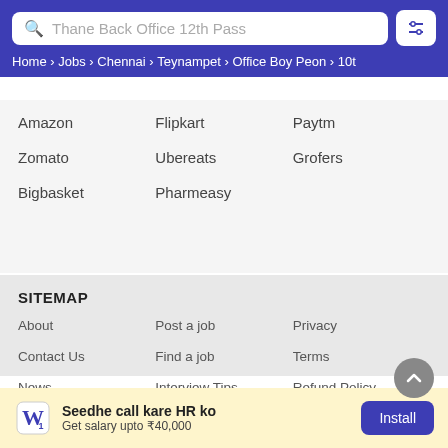Thane Back Office 12th Pass | Home › Jobs › Chennai › Teynampet › Office Boy Peon › 10t
Amazon
Flipkart
Paytm
Zomato
Ubereats
Grofers
Bigbasket
Pharmeasy
SITEMAP
About
Post a job
Privacy
Contact Us
Find a job
Terms
News
Interview Tips
Refund Policy
Culture
Resume Maker
How We Work
Seedhe call kare HR ko
Get salary upto ₹40,000